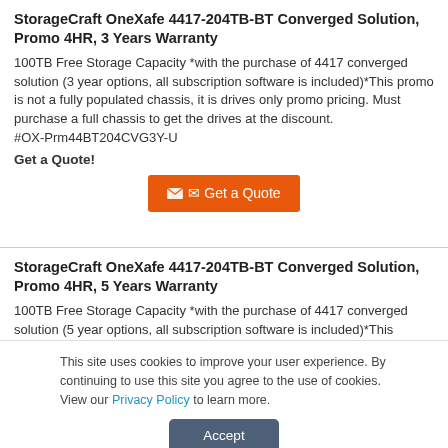StorageCraft OneXafe 4417-204TB-BT Converged Solution, Promo 4HR, 3 Years Warranty
100TB Free Storage Capacity *with the purchase of 4417 converged solution (3 year options, all subscription software is included)*This promo is not a fully populated chassis, it is drives only promo pricing. Must purchase a full chassis to get the drives at the discount. #OX-Prm44BT204CVG3Y-U
Get a Quote!
[Figure (other): Orange button labeled 'Get a Quote' with envelope icon]
StorageCraft OneXafe 4417-204TB-BT Converged Solution, Promo 4HR, 5 Years Warranty
100TB Free Storage Capacity *with the purchase of 4417 converged solution (5 year options, all subscription software is included)*This
This site uses cookies to improve your user experience. By continuing to use this site you agree to the use of cookies. View our Privacy Policy to learn more.
[Figure (other): Dark blue-grey Accept button for cookie consent]